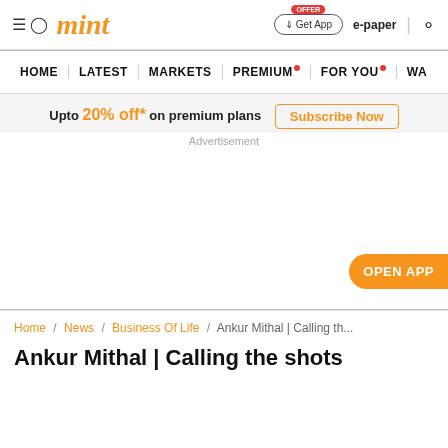mint
HOME | LATEST | MARKETS | PREMIUM | FOR YOU | WA
Upto 20% off* on premium plans Subscribe Now
Advertisement
OPEN APP
Home / News / Business Of Life / Ankur Mithal | Calling th...
Ankur Mithal | Calling the shots